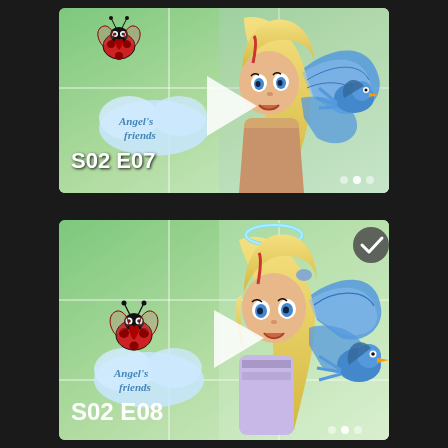[Figure (screenshot): Angel's Friends animated cartoon episode thumbnail showing a blonde fairy character with blue wings, a blue bird, and a red ladybug. Play button overlay. Episode label S02 E07 at bottom left. Navigation dots at bottom right.]
[Figure (screenshot): Angel's Friends animated cartoon episode thumbnail showing a blonde fairy character with a halo, blue bird, and red ladybug. Play button overlay. Checkmark badge at top right. Episode label S02 E08 at bottom left. Navigation dots at bottom right.]